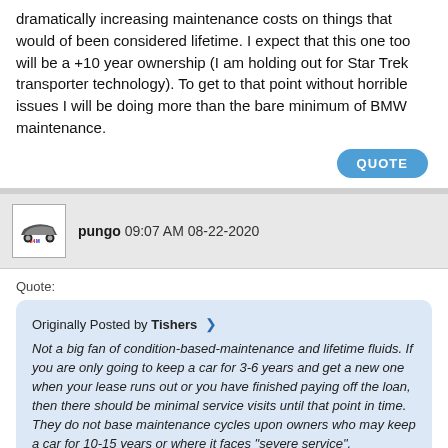dramatically increasing maintenance costs on things that would of been considered lifetime. I expect that this one too will be a +10 year ownership (I am holding out for Star Trek transporter technology). To get to that point without horrible issues I will be doing more than the bare minimum of BMW maintenance.
QUOTE
pungo 09:07 AM 08-22-2020
Quote:
Originally Posted by Tishers
Not a big fan of condition-based-maintenance and lifetime fluids. If you are only going to keep a car for 3-6 years and get a new one when your lease runs out or you have finished paying off the loan, then there should be minimal service visits until that point in time. They do not base maintenance cycles upon owners who may keep a car for 10-15 years or where it faces "severe service".